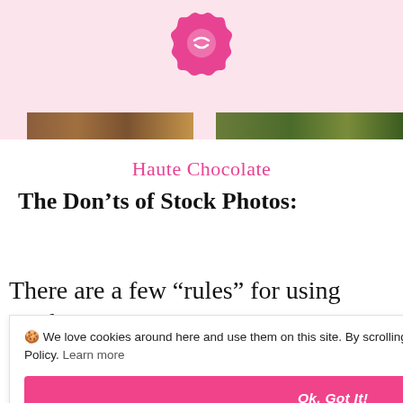[Figure (logo): Pink scalloped circle logo with a smiley or face icon in white]
[Figure (photo): Two partial photo strips at bottom of pink header — left shows brown tones, right shows green tones]
Haute Chocolate
The Don'ts of Stock Photos:
There are a few “rules” for using stock
🍪 We love cookies around here and use them on this site. By scrolling on this website, you agree to our Privacy Policy. Learn more
Ok, Got It!
er ges they them.